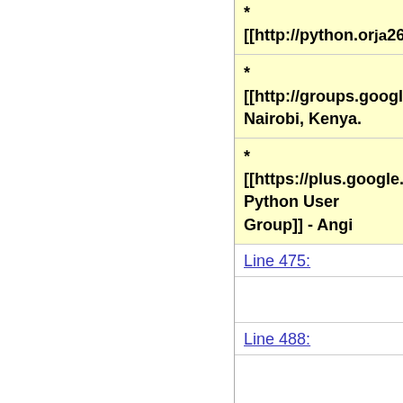* [[http://groups.google.com/... Nairobi, Kenya.
* [[https://plus.google.com/u/... Python User Group]] - Ango...
Line 475:
Line 488: